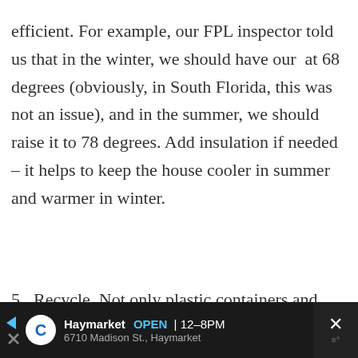efficient. For example, our FPL inspector told us that in the winter, we should have our  at 68 degrees (obviously, in South Florida, this was not an issue), and in the summer, we should raise it to 78 degrees. Add insulation if needed – it helps to keep the house cooler in summer and warmer in winter.
5. Recycle. Not only plastic containers and newspapers, but household items that you would normally throw out can probably be used by someone else. You
Haymarket  OPEN  12–8PM  6710 Madison St., Haymarket